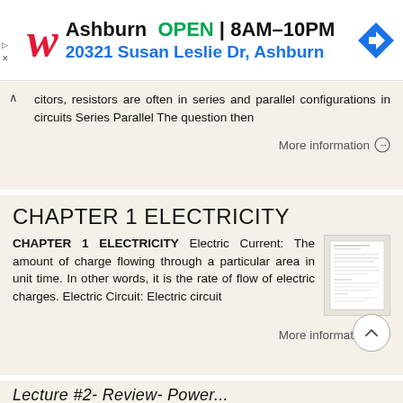[Figure (screenshot): Walgreens advertisement banner showing store location in Ashburn, OPEN 8AM-10PM, address 20321 Susan Leslie Dr, Ashburn, with navigation arrow icon]
citors, resistors are often in series and parallel configurations in circuits Series Parallel The question then
More information →
CHAPTER 1 ELECTRICITY
CHAPTER 1 ELECTRICITY Electric Current: The amount of charge flowing through a particular area in unit time. In other words, it is the rate of flow of electric charges. Electric Circuit: Electric circuit
More information →
Lecture #2- Review- Power...